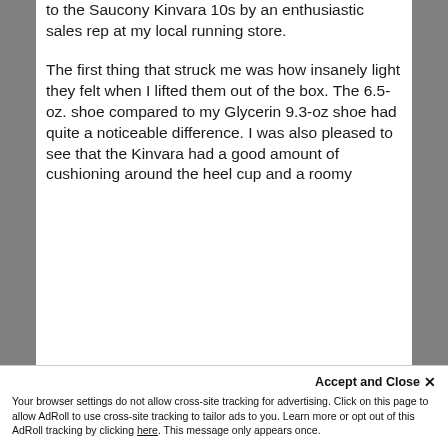to the Saucony Kinvara 10s by an enthusiastic sales rep at my local running store.
The first thing that struck me was how insanely light they felt when I lifted them out of the box. The 6.5-oz. shoe compared to my Glycerin 9.3-oz shoe had quite a noticeable difference. I was also pleased to see that the Kinvara had a good amount of cushioning around the heel cup and a roomy
Accept and Close ✕
Your browser settings do not allow cross-site tracking for advertising. Click on this page to allow AdRoll to use cross-site tracking to tailor ads to you. Learn more or opt out of this AdRoll tracking by clicking here. This message only appears once.